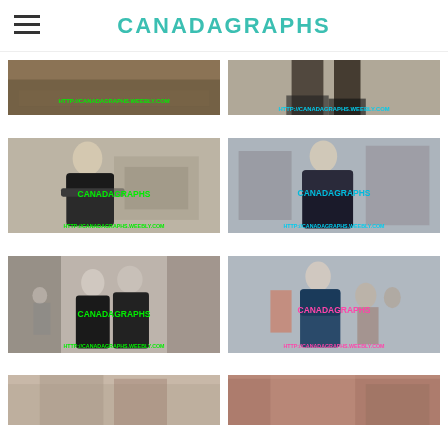CANADAGRAPHS
[Figure (photo): Partial street/ground scene with watermark URL]
[Figure (photo): Two people walking on street, legs visible, with watermark URL]
[Figure (photo): Older man with grey hair signing autograph outdoors, CANADAGRAPHS watermark]
[Figure (photo): Older man with grey hair in black jacket outdoors, CANADAGRAPHS watermark]
[Figure (photo): Two men in dark suits walking on sidewalk, CANADAGRAPHS watermark]
[Figure (photo): Person in blue jacket standing on street, CANADAGRAPHS watermark]
[Figure (photo): Partial photo at bottom left, partially cut off]
[Figure (photo): Partial photo at bottom right, partially cut off]